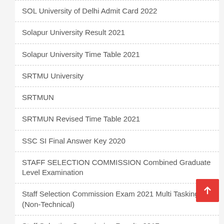SOL University of Delhi Admit Card 2022
Solapur University Result 2021
Solapur University Time Table 2021
SRTMU University
SRTMUN
SRTMUN Revised Time Table 2021
SSC SI Final Answer Key 2020
STAFF SELECTION COMMISSION Combined Graduate Level Examination
Staff Selection Commission Exam 2021 Multi Tasking (Non-Technical)
Staff Selection Commission Results 2017
Subordinate Services Selection Board Punjab